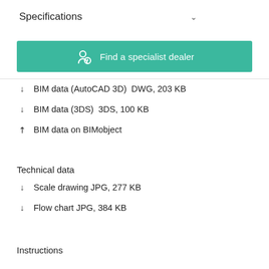Specifications
[Figure (other): Teal/green button: Find a specialist dealer with a person/location icon]
↓  BIM data (AutoCAD 3D)  DWG, 203 KB
↓  BIM data (3DS)  3DS, 100 KB
↗  BIM data on BIMobject
Technical data
↓  Scale drawing JPG, 277 KB
↓  Flow chart JPG, 384 KB
Instructions